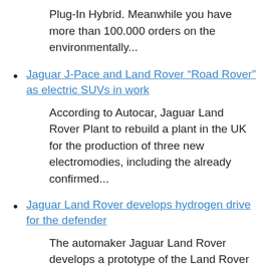Plug-In Hybrid. Meanwhile you have more than 100.000 orders on the environmentally...
Jaguar J-Pace and Land Rover “Road Rover” as electric SUVs in work
According to Autocar, Jaguar Land Rover Plant to rebuild a plant in the UK for the production of three new electromodies, including the already confirmed...
Jaguar Land Rover develops hydrogen drive for the defender
The automaker Jaguar Land Rover develops a prototype of the Land Rover